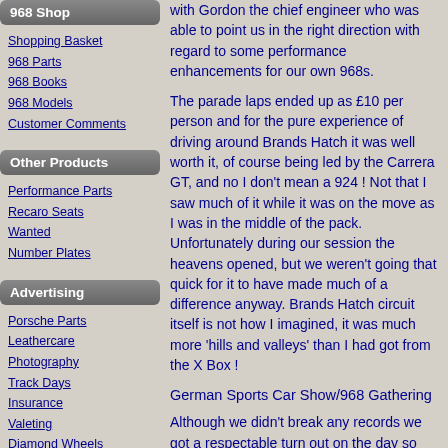968 Shop
Shopping Basket
968 Parts
968 Books
968 Models
Customer Comments
Other Products
Performance Parts
Recaro Seats
Wanted
Number Plates
Advertising
Porsche Parts
Leathercare
Photography
Track Days
Insurance
Valeting
Diamond Wheels
Used Car Roadshow
Links
Useful Links
Link Partners
with Gordon the chief engineer who was able to point us in the right direction with regard to some performance enhancements for our own 968s.
The parade laps ended up as £10 per person and for the pure experience of driving around Brands Hatch it was well worth it, of course being led by the Carrera GT, and no I don't mean a 924 ! Not that I saw much of it while it was on the move as I was in the middle of the pack. Unfortunately during our session the heavens opened, but we weren't going that quick for it to have made much of a difference anyway. Brands Hatch circuit itself is not how I imagined, it was much more 'hills and valleys' than I had got from the X Box !
German Sports Car Show/968 Gathering
Although we didn't break any records we got a respectable turn out on the day so thanks to everybody who turned up. We also saw some new faces.
No doubt some people will choose to use their cars a little bit less over the next few